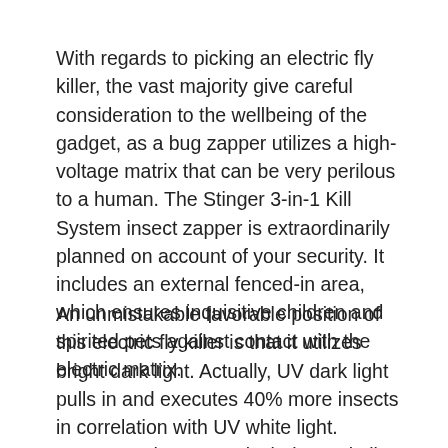With regards to picking an electric fly killer, the vast majority give careful consideration to the wellbeing of the gadget, as a bug zapper utilizes a high-voltage matrix that can be very perilous to a human. The Stinger 3-in-1 Kill System insect zapper is extraordinarily planned on account of your security. It includes an external fenced-in area, which ensures inquisitive children and spirited pets against contact with the electric matrix.
An unmistakable favorable position of this electric fly killer is that it utilizes bright dark light. Actually, UV dark light pulls in and executes 40% more insects in correlation with UV white light. Moreover, the zapper includes a vitality brilliant twilight sensor, which automatically turns on according to the settings of...